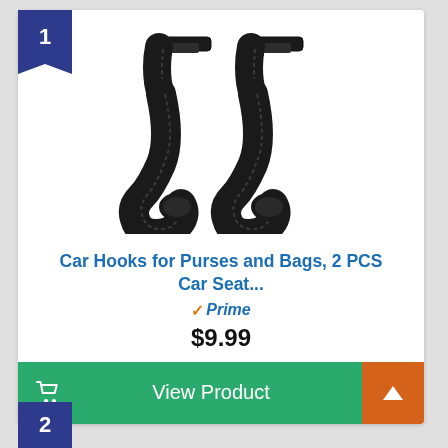[Figure (photo): Two black leather car seat headrest hooks for purses and bags]
Car Hooks for Purses and Bags, 2 PCS Car Seat...
✓Prime
$9.99
View Product